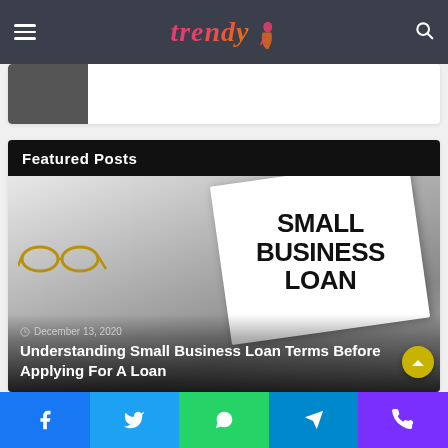Trendy [logo with icon]
[Figure (screenshot): Partially visible card with dark image thumbnail on left]
Featured Posts
[Figure (photo): Photo of a Small Business Loan document with glasses, wallet/notebook in background. Overlay text: December 13, 2020. Title: Understanding Small Business Loan Terms Before Applying For A Loan]
December 13, 2020
Understanding Small Business Loan Terms Before Applying For A Loan
Social sharing bar: Facebook, Twitter, WhatsApp, Telegram, Phone